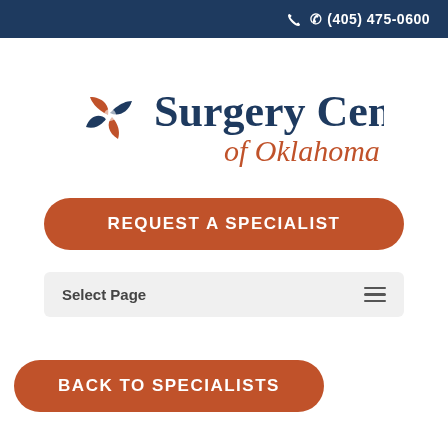(405) 475-0600
[Figure (logo): Surgery Center of Oklahoma logo with orange pinwheel icon, dark navy blue text reading 'Surgery Center' and orange italic text reading 'of Oklahoma']
REQUEST A SPECIALIST
Select Page
BACK TO SPECIALISTS